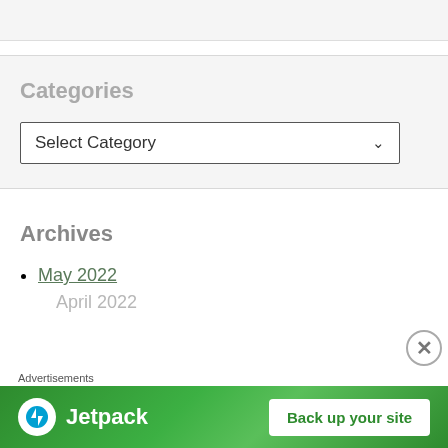Categories
Select Category
Archives
May 2022
[Figure (screenshot): Advertisements banner with Jetpack logo and 'Back up your site' button on green background]